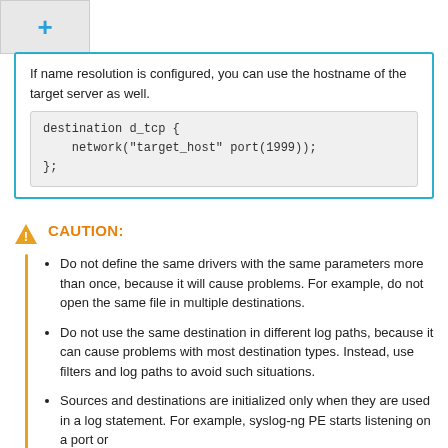[Figure (other): Plus button icon with teal/blue color on grey background]
If name resolution is configured, you can use the hostname of the target server as well.
CAUTION:
Do not define the same drivers with the same parameters more than once, because it will cause problems. For example, do not open the same file in multiple destinations.
Do not use the same destination in different log paths, because it can cause problems with most destination types. Instead, use filters and log paths to avoid such situations.
Sources and destinations are initialized only when they are used in a log statement. For example, syslog-ng PE starts listening on a port or